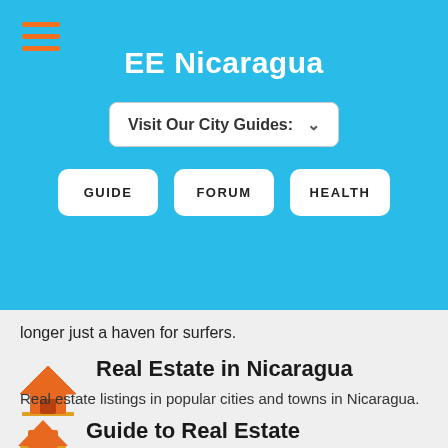EE Nicaragua
Visit Our City Guides:
GUIDE
FORUM
HEALTH
longer just a haven for surfers.
Real Estate in Nicaragua
Real estate listings in popular cities and towns in Nicaragua.
Guide to Real Estate